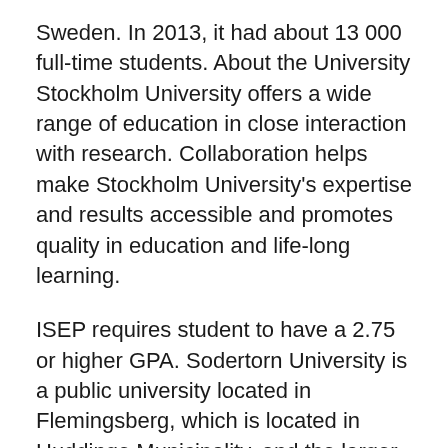Sweden. In 2013, it had about 13 000 full-time students. About the University Stockholm University offers a wide range of education in close interaction with research. Collaboration helps make Stockholm University's expertise and results accessible and promotes quality in education and life-long learning.
ISEP requires student to have a 2.75 or higher GPA. Sodertorn University is a public university located in Flemingsberg, which is located in Huddinge Municipality, and the larger area called Södertörn, in Stockholm County, Sweden. In 2013, it had about 13 000 full-time students. Course Level: Scholarships are available for pursuing master's programme. Sweden has set the target of becoming the world's first carbon-neutral welfare state, and forests have an important role to play in